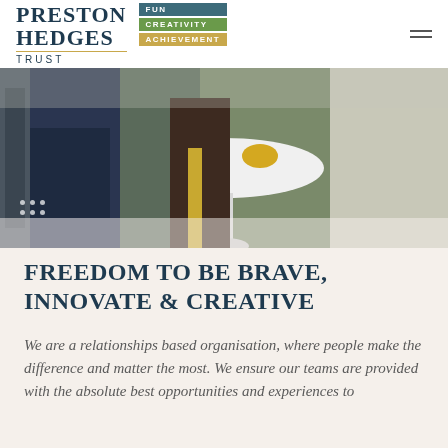[Figure (logo): Preston Hedges Trust logo with FUN, CREATIVITY, ACHIEVEMENT tag badges]
[Figure (photo): Children and adults sitting around a white round table in a classroom setting]
FREEDOM TO BE BRAVE, INNOVATE & CREATIVE
We are a relationships based organisation, where people make the difference and matter the most. We ensure our teams are provided with the absolute best opportunities and experiences to